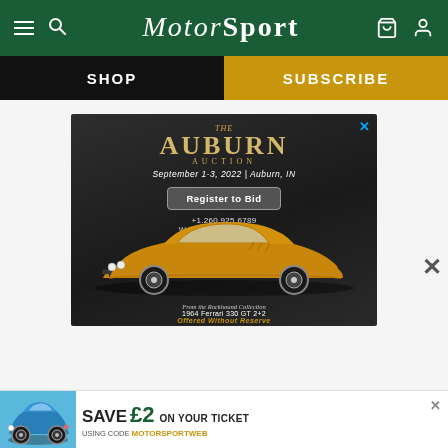MotorSport
SHOP | SUBSCRIBE
[Figure (advertisement): The Auburn Auction ad: September 1-3, 2022, Auburn, IN. Register to Bid. +1.260.925.6789 WorldwideAuctioneers.com. Features a gold 1964 Ferrari 330 GT 2+2 from the Rockhound Collection, Offered Without Reserve.]
[Figure (advertisement): Save £2 on your ticket using code MOTORSPORTWEB. Blue Porsche 911 shown.]